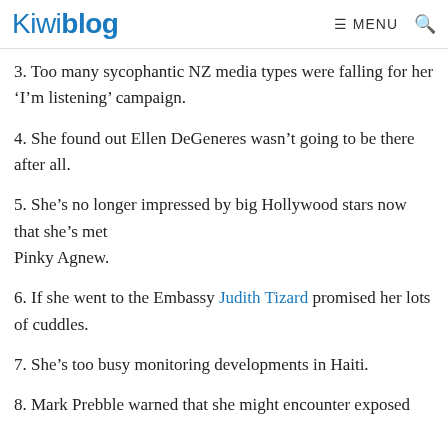Kiwiblog  ≡ MENU  🔍
3. Too many sycophantic NZ media types were falling for her 'I'm listening' campaign.
4. She found out Ellen DeGeneres wasn't going to be there after all.
5. She's no longer impressed by big Hollywood stars now that she's met Pinky Agnew.
6. If she went to the Embassy Judith Tizard promised her lots of cuddles.
7. She's too busy monitoring developments in Haiti.
8. Mark Prebble warned that she might encounter exposed